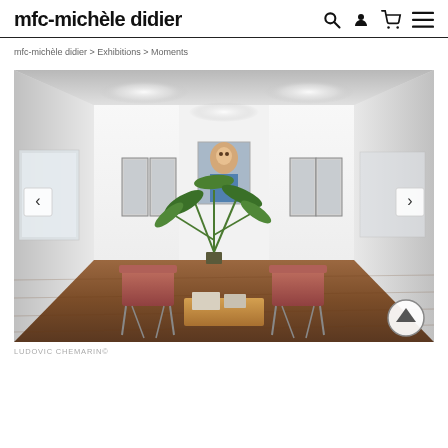mfc-michèle didier
mfc-michèle didier > Exhibitions > Moments
[Figure (photo): Interior view of mfc-michèle didier gallery showing white walls with artwork including framed panels on left and right walls and a portrait painting in center. Two rust-colored chairs flank a yellow coffee table on dark wood flooring. A palm plant is visible in the center. Navigation arrows on left and right sides.]
LUDOVIC CHEMARIN©